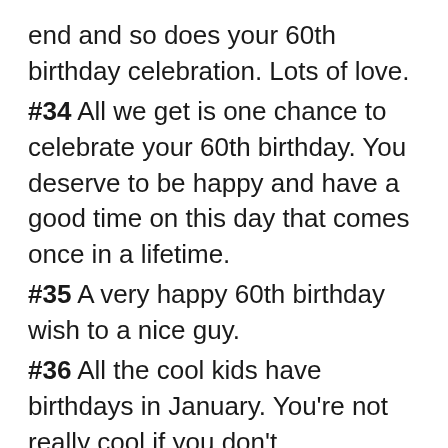end and so does your 60th birthday celebration. Lots of love.
#34 All we get is one chance to celebrate your 60th birthday. You deserve to be happy and have a good time on this day that comes once in a lifetime.
#35 A very happy 60th birthday wish to a nice guy.
#36 All the cool kids have birthdays in January. You're not really cool if you don't.
#37 Another year of good health, great food and even greater friends. Happy 60th birthday!